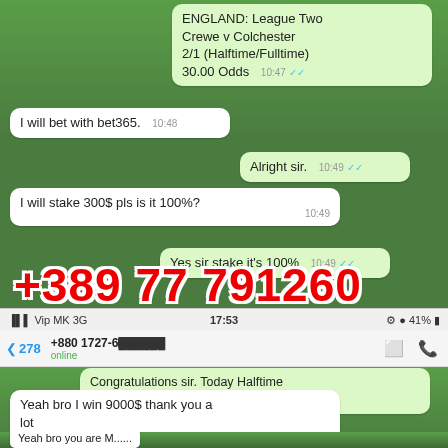[Figure (screenshot): WhatsApp chat screenshot showing a sports betting conversation. Messages include match prediction for ENGLAND League Two Crewe v Colchester with 2/1 Halftime/Fulltime odds of 30.00, user betting with bet365 for 300$ stake, tipster confirming 100%, and a large red phone number +389 77 791260 overlaid. Lower section shows phone status bar (Vip MK 3G, 17:53, 41%), contact header with +880 1727-6... online, congratulations message for Halftime Fulltime Fixed Match Win, and user confirming winning 9000$.]